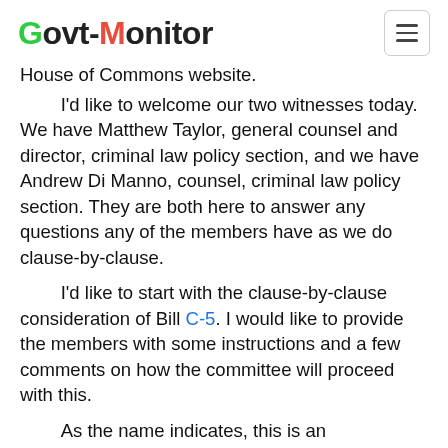Govt-Monitor
House of Commons website.
I'd like to welcome our two witnesses today. We have Matthew Taylor, general counsel and director, criminal law policy section, and we have Andrew Di Manno, counsel, criminal law policy section. They are both here to answer any questions any of the members have as we do clause-by-clause.
I'd like to start with the clause-by-clause consideration of Bill C-5. I would like to provide the members with some instructions and a few comments on how the committee will proceed with this.
As the name indicates, this is an examination of all the clauses in the order in which they appear in the bill. I will call each clause successively, and each clause is subject to a debate and a vote. If there is an amendment to the clause in question, I will